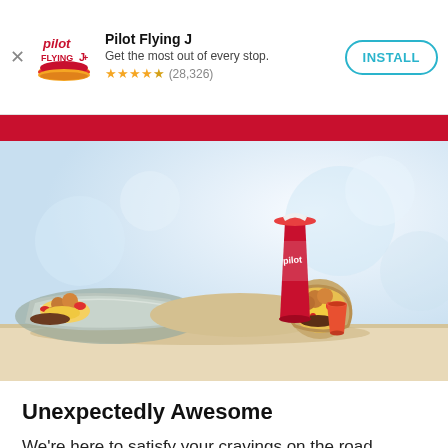[Figure (screenshot): App install banner for Pilot Flying J app showing logo, star rating of 4.5 stars (28,326 reviews), tagline 'Get the most out of every stop.', and INSTALL button]
[Figure (photo): Food photo showing two breakfast burritos filled with eggs, tater tots, meat, and peppers, alongside a red Pilot Flying J branded cup and a small cup of salsa/hot sauce, on a light blue bokeh background]
Unexpectedly Awesome
We're here to satisfy your cravings on the road.